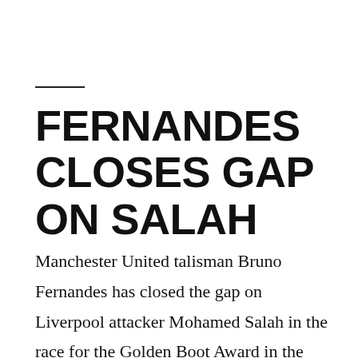FERNANDES CLOSES GAP ON SALAH
Manchester United talisman Bruno Fernandes has closed the gap on Liverpool attacker Mohamed Salah in the race for the Golden Boot Award in the Premier League this season. Manchester United on TV was a